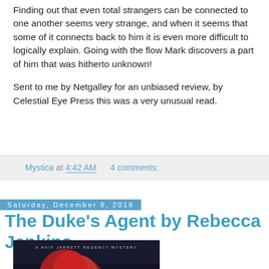Finding out that even total strangers can be connected to one another seems very strange, and when it seems that some of it connects back to him it is even more difficult to logically explain. Going with the flow Mark discovers a part of him that was hitherto unknown!
Sent to me by Netgalley for an unbiased review, by Celestial Eye Press this was a very unusual read.
Mystica at 4:42 AM    4 comments:
Saturday, December 8, 2018
The Duke's Agent by Rebecca Jenkins
[Figure (photo): Book cover for 'The Duke's Agent by Rebecca Jenkins' — A Raif Jarrett Regency Mystery. Dark background with a woman with red hair and partial gold script title visible.]